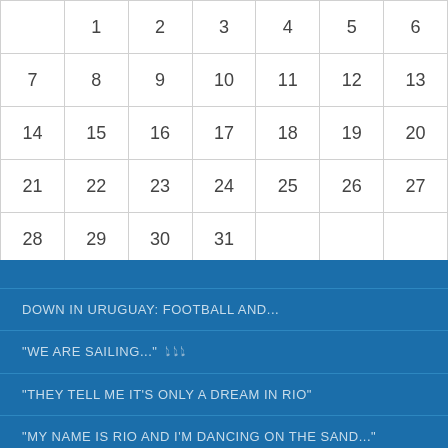|  | 1 | 2 | 3 | 4 | 5 | 6 |
| 7 | 8 | 9 | 10 | 11 | 12 | 13 |
| 14 | 15 | 16 | 17 | 18 | 19 | 20 |
| 21 | 22 | 23 | 24 | 25 | 26 | 27 |
| 28 | 29 | 30 | 31 |  |  |  |
« Sep
DOWN IN URUGUAY: FOOTBALL AND...
"WE ARE SAILING..." 🎵🎵
"THEY TELL ME IT'S ONLY A DREAM IN RIO"
"MY NAME IS RIO AND I'M DANCING ON THE SAND..."
EXCITEMENT BUILDS...